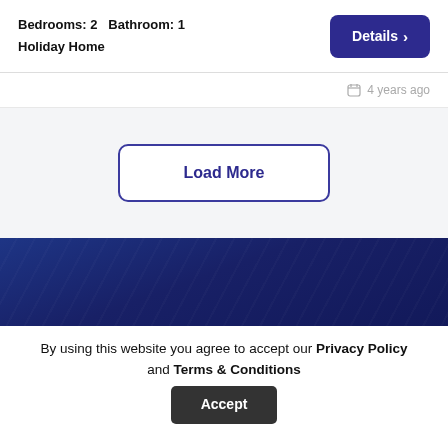Bedrooms: 2   Bathroom: 1
Holiday Home
Details >
4 years ago
Load More
[Figure (photo): Dark blue textured banner background]
By using this website you agree to accept our Privacy Policy and Terms & Conditions
Accept